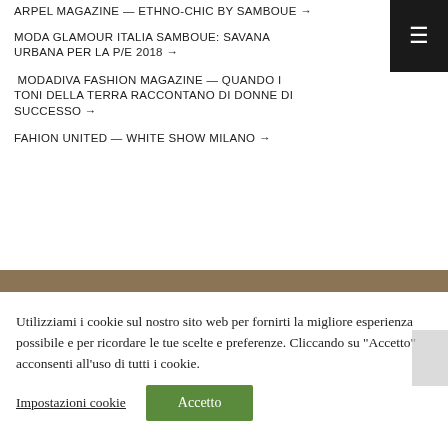ARPEL MAGAZINE — ETHNO-CHIC BY SAMBOUE →
MODA GLAMOUR ITALIA SAMBOUE: SAVANA URBANA PER LA P/E 2018 →
MODADIVA FASHION MAGAZINE — QUANDO I TONI DELLA TERRA RACCONTANO DI DONNE DI SUCCESSO →
FAHION UNITED — WHITE SHOW MILANO →
Utilizziami i cookie sul nostro sito web per fornirti la migliore esperienza possibile e per ricordare le tue scelte e preferenze. Cliccando su "Accetto" acconsenti all'uso di tutti i cookie.
Impostazioni cookie   Accetto